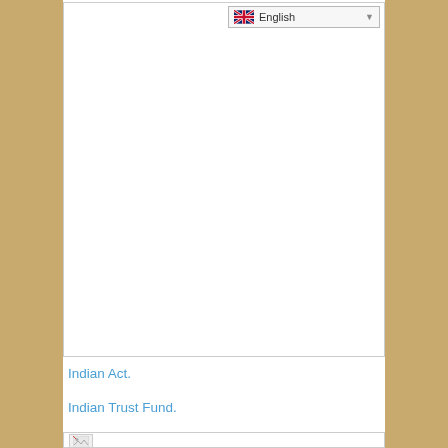[Figure (screenshot): Language selector dropdown showing British flag and 'English' text with dropdown arrow]
[Figure (screenshot): Large white content box area (mostly blank/empty)]
Indian Act.
Indian Trust Fund.
[Figure (screenshot): Partially visible framed box at bottom with broken image icon placeholder]